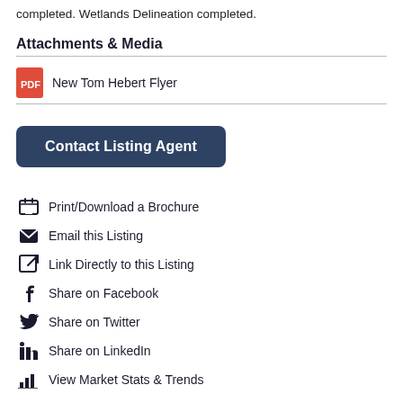completed. Wetlands Delineation completed.
Attachments & Media
New Tom Hebert Flyer
Contact Listing Agent
Print/Download a Brochure
Email this Listing
Link Directly to this Listing
Share on Facebook
Share on Twitter
Share on LinkedIn
View Market Stats & Trends